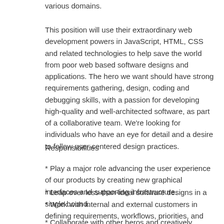various domains.
This position will use their extraordinary web development powers in JavaScript, HTML, CSS and related technologies to help save the world from poor web based software designs and applications. The hero we want should have strong requirements gathering, design, coding and debugging skills, with a passion for developing high-quality and well-architected software, as part of a collaborative team. We're looking for individuals who have an eye for detail and a desire to follow user-centered design practices.
Responsibilities
* Play a major role advancing the user experience of our products by creating new graphical interfaces and supporting infrastructure.
* Leap over less-than-ideal software designs in a single bound.
* Work with internal and external customers in defining requirements, workflows, priorities, and features.
* Collaborate with other heros and creatively invent new solutions.